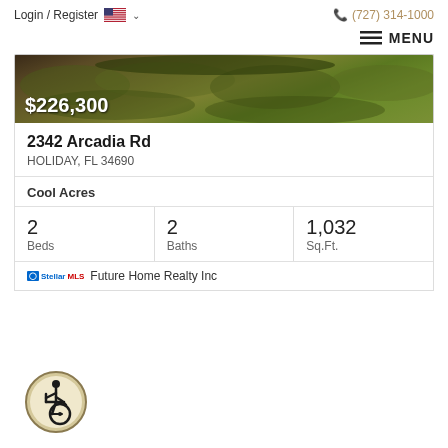Login / Register  (727) 314-1000
[Figure (screenshot): Menu button with hamburger icon and MENU text]
[Figure (photo): Property exterior photo showing overgrown green landscaping with price overlay $226,300]
$226,300
2342 Arcadia Rd
HOLIDAY, FL 34690
Cool Acres
2 Beds  2 Baths  1,032 Sq.Ft.
Future Home Realty Inc
[Figure (logo): Accessibility wheelchair symbol in a circle with tan/gold border]